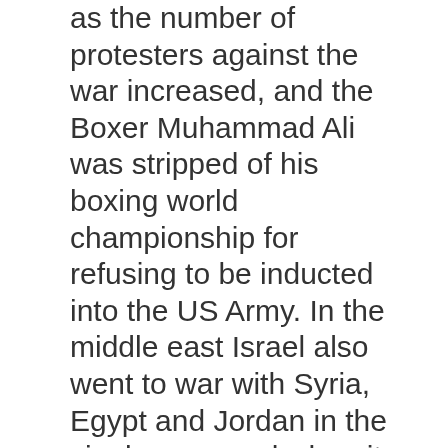as the number of protesters against the war increased, and the Boxer Muhammad Ali was stripped of his boxing world championship for refusing to be inducted into the US Army. In the middle east Israel also went to war with Syria, Egypt and Jordan in the six day war and when it was over Israel controlled and occupied a